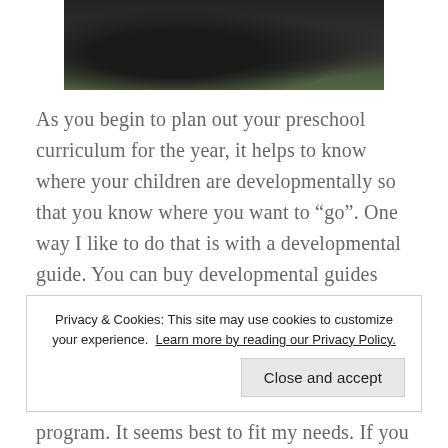[Figure (photo): Partial photo of people outdoors on grass, cropped at top — person in black top visible against green grass background]
As you begin to plan out your preschool curriculum for the year, it helps to know where your children are developmentally so that you know where you want to “go”.  One way I like to do that is with a developmental guide.  You can buy developmental guides and programs like the POCET or the Portage Guide ,or if you’re a nerd like I am, you can look through position
Privacy & Cookies: This site may use cookies to customize your experience. Learn more by reading our Privacy Policy.
Close and accept
program.  It seems best to fit my needs.  If you